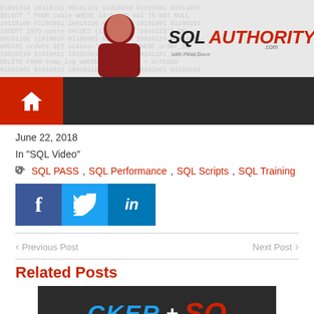[Figure (logo): SQL Authority website banner with person photo and SQL AUTHORITY logo text on code background]
[Figure (screenshot): Dark navigation bar with red home button featuring house icon]
June 22, 2018
In "SQL Video"
SQL PASS, SQL Performance, SQL Scripts, SQL Training
[Figure (infographic): Social share buttons: Facebook (blue), Twitter (light blue), LinkedIn (dark blue)]
Previous Post
Next Post
Related Posts
[Figure (screenshot): Related post thumbnail showing CKFR + SQL text logos on dark background]